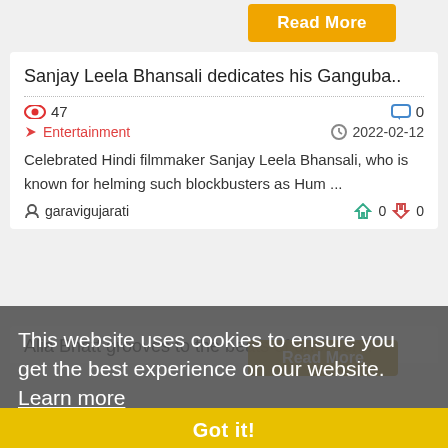Read More
Sanjay Leela Bhansali dedicates his Ganguba..
47
0
Entertainment
2022-02-12
Celebrated Hindi filmmaker Sanjay Leela Bhansali, who is known for helming such blockbusters as Hum ...
garavigujarati
0
0
Read More
Alia Bhatt grooves to the beats of dhol son..
This website uses cookies to ensure you get the best experience on our website. Learn more
Got it!
48
0
Entertainment
2022-02-12
Starring Alia Bhatt in the lead role, Gangubai